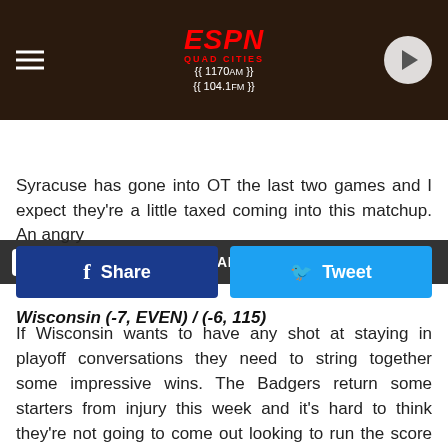[Figure (screenshot): ESPN Quad Cities radio station header with logo, frequency 1170AM / 104.1FM, hamburger menu icon, and play button]
LISTEN NOW ▶  ESPN QUAD CITIES WEEKEND
Syracuse has gone into OT the last two games and I expect they're a little taxed coming into this matchup. An angry
[Figure (other): Facebook Share button and Twitter Tweet button row]
Wisconsin (-7, EVEN) / (-6, 115)
If Wisconsin wants to have any shot at staying in playoff conversations they need to string together some impressive wins. The Badgers return some starters from injury this week and it's hard to think they're not going to come out looking to run the score up on a fairly decent Northwestern team to prove they should still be considered along with the top teams in the Big Ten.
*This line has seen a lot of fluctuation so far this week. We like it in either of the above scenarios.